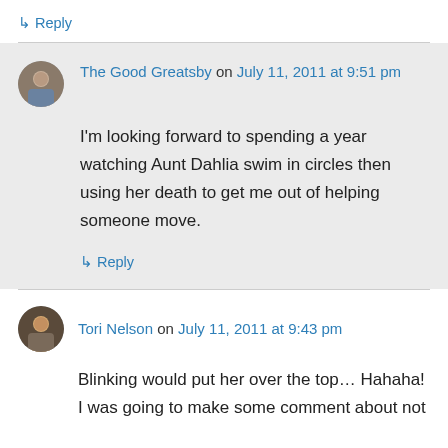↳ Reply
The Good Greatsby on July 11, 2011 at 9:51 pm
I'm looking forward to spending a year watching Aunt Dahlia swim in circles then using her death to get me out of helping someone move.
↳ Reply
Tori Nelson on July 11, 2011 at 9:43 pm
Blinking would put her over the top… Hahaha! I was going to make some comment about not